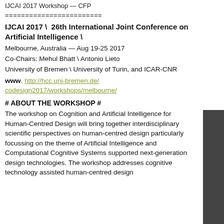IJCAI 2017 Workshop — CFP
========================
IJCAI 2017 \ 26th International Joint Conference on Artificial Intelligence \
Melbourne, Australia — Aug 19-25 2017
Co-Chairs: Mehul Bhatt \ Antonio Lieto
University of Bremen \ University of Turin, and ICAR-CNR
www. http://hcc.uni-bremen.de/codesign2017/workshops/melbourne/
# ABOUT THE WORKSHOP #
The workshop on Cognition and Artificial Intelligence for Human-Centred Design will bring together interdisciplinary scientific perspectives on human-centred design particularly focussing on the theme of Artificial Intelligence and Computational Cognitive Systems supported next-generation design technologies. The workshop addresses cognitive technology assisted human-centred design